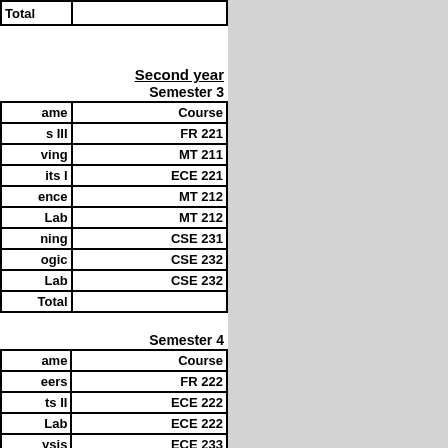| ame | Course |
| --- | --- |
| Total |  |
Second year
Semester 3
| ame | Course |
| --- | --- |
| s III | FR  221 |
| ving | MT 211 |
| its I | ECE  221 |
| ence | MT 212 |
| Lab | MT 212 |
| ning | CSE 231 |
| ogic | CSE  232 |
| Lab | CSE  232 |
| Total |  |
Semester 4
| ame | Course |
| --- | --- |
| eers | FR 222 |
| ts II | ECE 222 |
| Lab | ECE  222 |
| ysis | ECE  233 |
| nics | MT 213 |